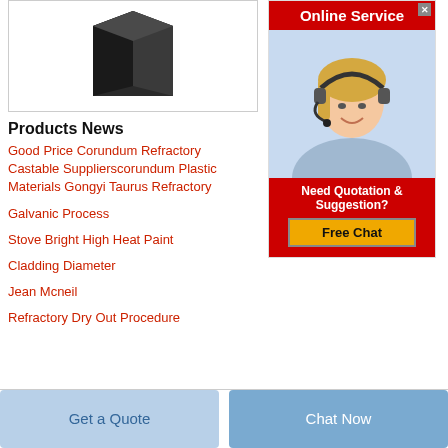[Figure (photo): Product image showing a dark grey/black wedge or block-shaped refractory material]
[Figure (infographic): Online Service advertisement with red header reading 'Online Service', photo of blonde woman with headset, red section with 'Need Quotation & Suggestion?' text, and yellow 'Free Chat' button]
Products News
Good Price Corundum Refractory Castable Supplierscorundum Plastic Materials Gongyi Taurus Refractory
Galvanic Process
Stove Bright High Heat Paint
Cladding Diameter
Jean Mcneil
Refractory Dry Out Procedure
Get a Quote
Chat Now